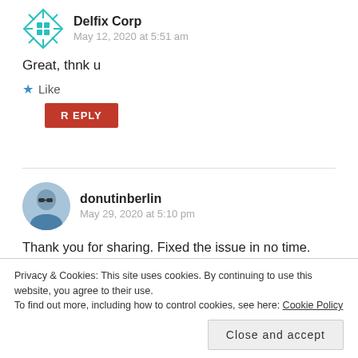[Figure (logo): Delfix Corp teal snowflake/grid logo icon]
Delfix Corp
May 12, 2020 at 5:51 am
Great, thnk u
Like
REPLY
[Figure (photo): Profile photo of donutinberlin, person wearing sunglasses and blue shirt]
donutinberlin
May 29, 2020 at 5:10 pm
Thank you for sharing. Fixed the issue in no time. Small note: I used the version containerd.io-1.2.13-
Privacy & Cookies: This site uses cookies. By continuing to use this website, you agree to their use.
To find out more, including how to control cookies, see here: Cookie Policy
Close and accept